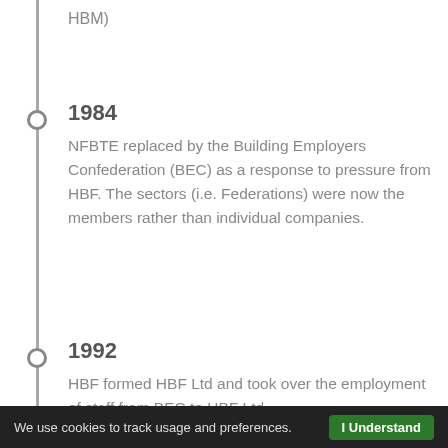HBM)
1984
NFBTE replaced by the Building Employers Confederation (BEC) as a response to pressure from HBF.  The sectors (i.e. Federations) were now the members rather than individual companies.
1992
HBF formed HBF Ltd and took over the employment of staff from BEC to HBF Ltd.
We use cookies to track usage and preferences.  I Understand